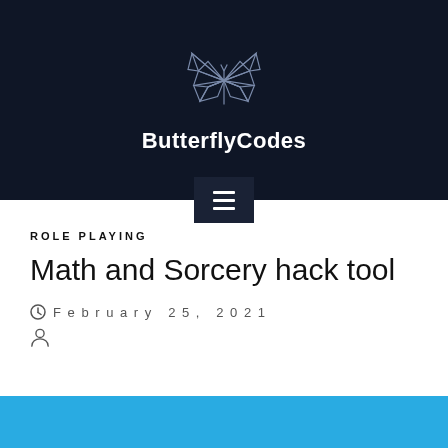[Figure (logo): ButterflyCodes website header with geometric butterfly logo outline in dark navy background and site name 'ButterflyCodes' in white bold text]
ROLE PLAYING
Math and Sorcery hack tool
February 25, 2021
[Figure (other): Cyan/blue horizontal bar at the bottom of the page]